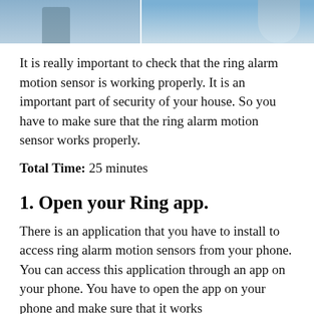[Figure (photo): Photo strip at top showing two cropped images side by side — left appears to show a device/object outdoors, right shows a person's arm/shoulder in blue clothing]
It is really important to check that the ring alarm motion sensor is working properly. It is an important part of security of your house. So you have to make sure that the ring alarm motion sensor works properly.
Total Time: 25 minutes
1. Open your Ring app.
There is an application that you have to install to access ring alarm motion sensors from your phone. You can access this application through an app on your phone. You have to open the app on your phone and make sure that it works